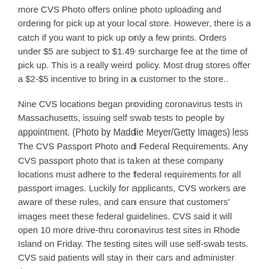more CVS Photo offers online photo uploading and ordering for pick up at your local store. However, there is a catch if you want to pick up only a few prints. Orders under $5 are subject to $1.49 surcharge fee at the time of pick up. This is a really weird policy. Most drug stores offer a $2-$5 incentive to bring in a customer to the store..
Nine CVS locations began providing coronavirus tests in Massachusetts, issuing self swab tests to people by appointment. (Photo by Maddie Meyer/Getty Images) less The CVS Passport Photo and Federal Requirements. Any CVS passport photo that is taken at these company locations must adhere to the federal requirements for all passport images. Luckily for applicants, CVS workers are aware of these rules, and can ensure that customers' images meet these federal guidelines. CVS said it will open 10 more drive-thru coronavirus test sites in Rhode Island on Friday. The testing sites will use self-swab tests. CVS said patients will stay in their cars and administer the.
Millions of passports will expire this year. Is yours one of them? Passport Photos are available in select CVS Pharmacy® locations for just $14.99! We use the KODAK Biometric ID Photo System which automatically verifies that your photos meet all requirements for passport photos in the U.S., making your experience fast, simple and convenient! Beginning of dialog content for session timeout overlay Close... Back Are You Still